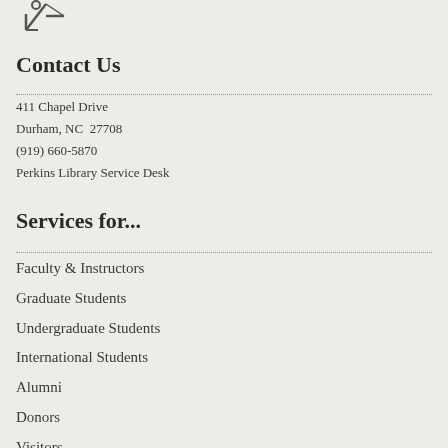[Figure (logo): Duke University or similar university library logo mark — stylized figure with horizontal lines]
Contact Us
411 Chapel Drive
Durham, NC  27708
(919) 660-5870
Perkins Library Service Desk
Services for...
Faculty & Instructors
Graduate Students
Undergraduate Students
International Students
Alumni
Donors
Visitors